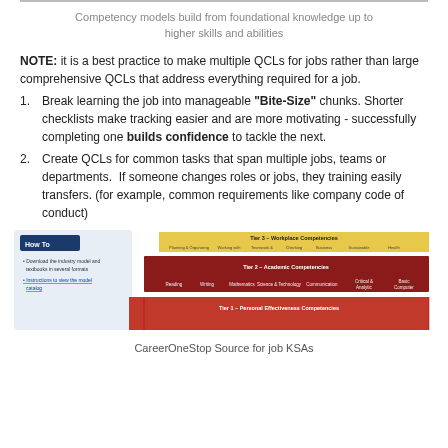Competency models build from foundational knowledge up to higher skills and abilities
NOTE: it is a best practice to make multiple QCLs for jobs rather than large comprehensive QCLs that address everything required for a job.
Break learning the job into manageable "Bite-Size" chunks. Shorter checklists make tracking easier and are more motivating - successfully completing one builds confidence to tackle the next.
Create QCLs for common tasks that span multiple jobs, teams or departments.  If someone changes roles or jobs, they training easily transfers. (for example, common requirements like company code of conduct)
[Figure (screenshot): Screenshot showing CareerOneStop competency model pyramid with How To panel on left, and layered tiers: Tier 1 Personal Effectiveness Competencies, Tier 2 Academic Competencies, Tier 3 Workplace Competencies]
CareerOneStop Source for job KSAs